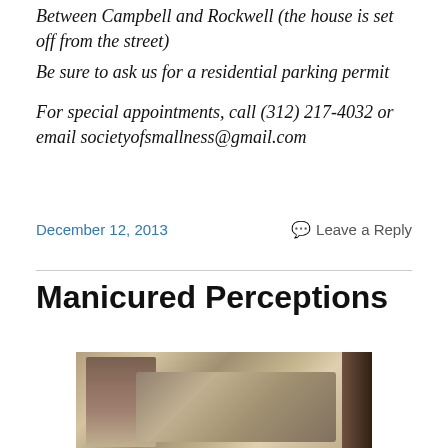Between Campbell and Rockwell (the house is set off from the street)
Be sure to ask us for a residential parking permit
For special appointments, call (312) 217-4032 or email societyofsmallness@gmail.com
December 12, 2013
Leave a Reply
Manicured Perceptions
[Figure (photo): Vintage sepia-toned photograph of a woman in a striped dress sitting next to a large mechanical device or early automobile, with a dark door visible on the right.]